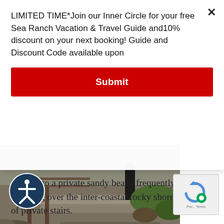LIMITED TIME*Join our Inner Circle for your free Sea Ranch Vacation & Travel Guide and10% discount on your next booking! Guide and Discount Code available upon
Submit
[Figure (photo): Outdoor stone stairs with wooden railing leading down to coastal area, with grassy rocky shore visible]
Getting to a private sandy beach frequently requires climbing over the inter-coastal rocky shores by way of private stairs.
Beaches Are Lonely